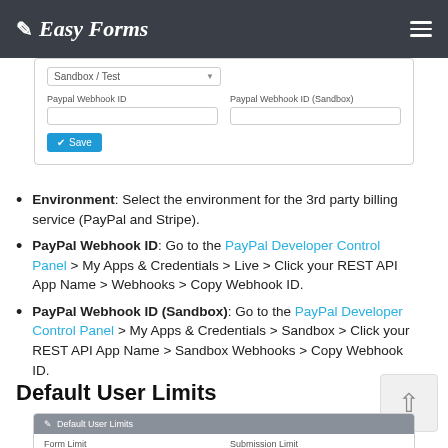Easy Forms
[Figure (screenshot): Screenshot of PayPal settings form with Sandbox/Test dropdown, Paypal Webhook ID and Paypal Webhook ID (Sandbox) fields, and a Save button]
Environment: Select the environment for the 3rd party billing service (PayPal and Stripe).
PayPal Webhook ID: Go to the PayPal Developer Control Panel > My Apps & Credentials > Live > Click your REST API App Name > Webhooks > Copy Webhook ID.
PayPal Webhook ID (Sandbox): Go to the PayPal Developer Control Panel > My Apps & Credentials > Sandbox > Click your REST API App Name > Sandbox Webhooks > Copy Webhook ID.
Default User Limits
[Figure (screenshot): Screenshot of Default User Limits panel with Form Limit and Submission Limit fields]